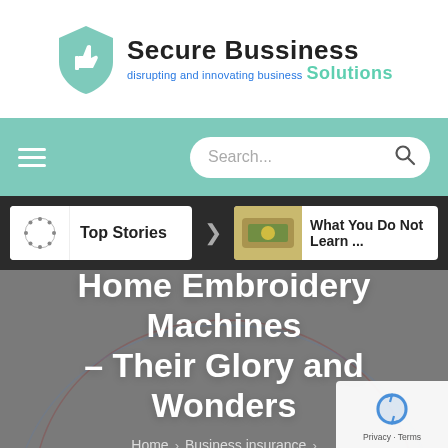[Figure (logo): Secure Bussiness Solutions logo with teal shield icon and thumbs up, company name in black and teal]
[Figure (screenshot): Navigation bar with hamburger menu icon on left and search box on right, on teal background]
[Figure (screenshot): Top Stories card and What You Do Not Learn card in dark navigation bar]
Home Embroidery Machines – Their Glory and Wonders
Home > Business insurance >